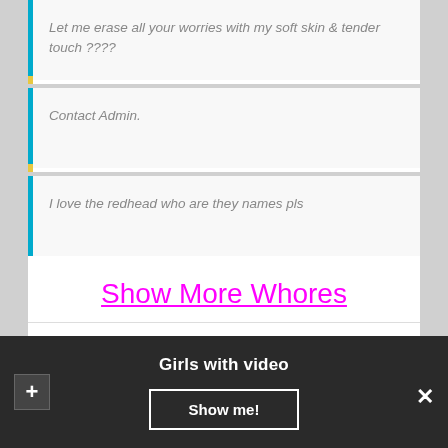Let me erase all your worries with my soft skin & tender touch ????
Contact Admin.
I love the redhead who are they names pls
Show More Whores
By admin | 01.09.2017 | Albania |
Girls with video
Show me!